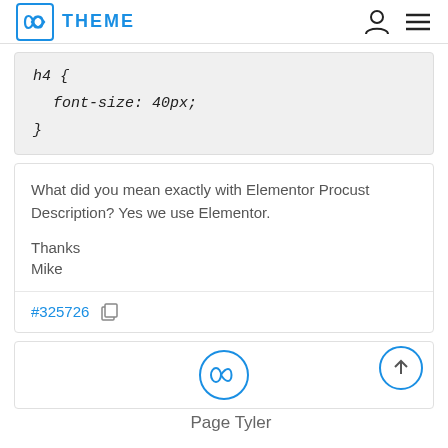∞ THEME
h4 {
    font-size: 40px;
}
What did you mean exactly with Elementor Procust Description? Yes we use Elementor.

Thanks
Mike
#325726
[Figure (logo): Infinity loop logo with APPROVETHEMP text, circular badge]
Page Tyler